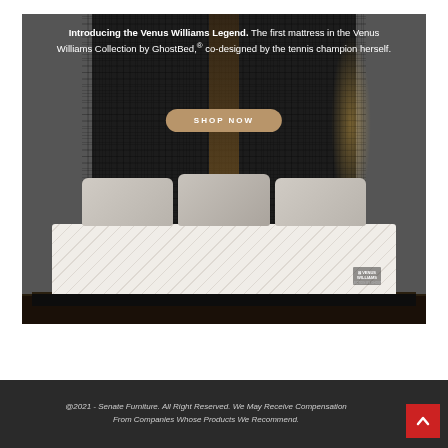[Figure (photo): Advertisement for the Venus Williams Legend mattress by GhostBed. Dark stylish bedroom background with the mattress on a low black platform bed, three grey pillows, with text overlay reading 'Introducing the Venus Williams Legend. The first mattress in the Venus Williams Collection by GhostBed, co-designed by the tennis champion herself.' and a 'SHOP NOW' button.]
@2021 - Senate Furniture. All Right Reserved. We May Receive Compensation From Companies Whose Products We Recommend.